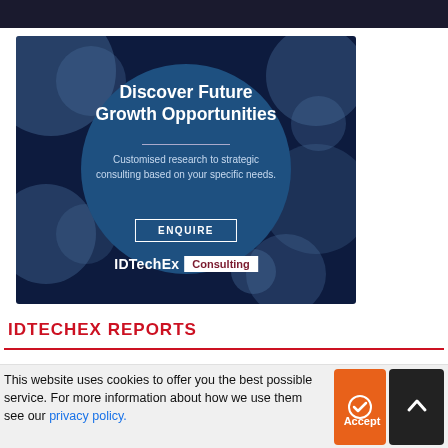[Figure (illustration): IDTechEx Consulting advertisement banner on a dark navy background with decorative circles. Text reads 'Discover Future Growth Opportunities' with subtitle 'Customised research to strategic consulting based on your specific needs.' and an ENQUIRE button. IDTechEx Consulting logo at bottom.]
IDTECHEX REPORTS
This website uses cookies to offer you the best possible service. For more information about how we use them see our privacy policy.